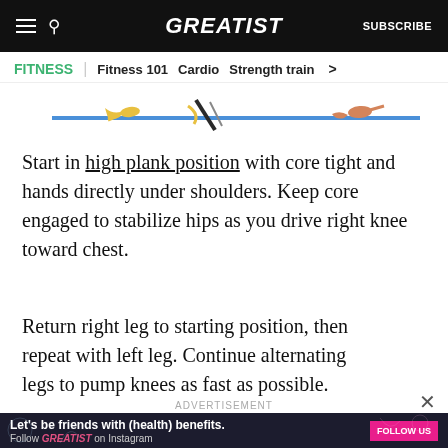GREATIST | FITNESS | Fitness 101 | Cardio | Strength train | SUBSCRIBE
[Figure (illustration): Illustration of a person in high plank/mountain climber position, shown as a simplified blue horizontal line with orange/yellow colored figure elements representing the person's body and leg motion.]
Start in high plank position with core tight and hands directly under shoulders. Keep core engaged to stabilize hips as you drive right knee toward chest.
Return right leg to starting position, then repeat with left leg. Continue alternating legs to pump knees as fast as possible.
[Figure (infographic): Advertisement banner: 'Let's be friends with (health) benefits. Follow GREATIST on Instagram' with a pink FOLLOW US button, on a dark background with decorative illustrations.]